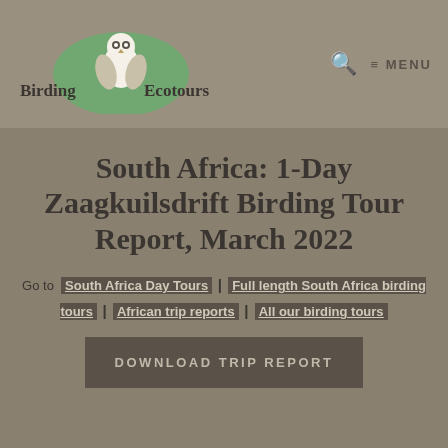Birding Ecotours | MENU
South Africa: 1-Day Zaagkuilsdrift Birding Tour Report, March 2022
Go to South Africa Day Tours | Full length South Africa birding tours | African trip reports | All our birding tours
DOWNLOAD TRIP REPORT